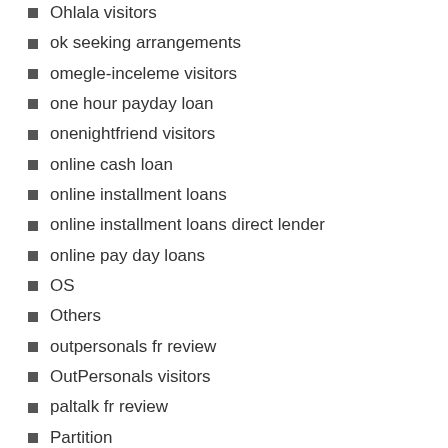Ohlala visitors
ok seeking arrangements
omegle-inceleme visitors
one hour payday loan
onenightfriend visitors
online cash loan
online installment loans
online installment loans direct lender
online pay day loans
OS
Others
outpersonals fr review
OutPersonals visitors
paltalk fr review
Partition
passion visitors
pay day loan online